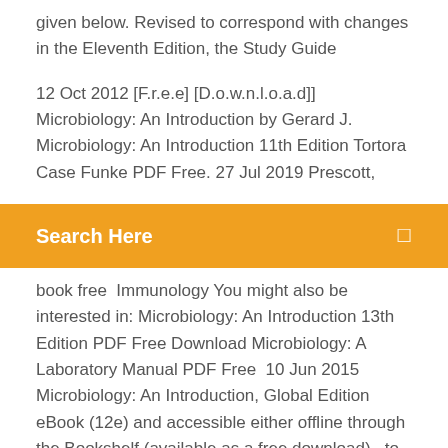given below. Revised to correspond with changes in the Eleventh Edition, the Study Guide
12 Oct 2012 [F.r.e.e] [D.o.w.n.l.o.a.d]] Microbiology: An Introduction by Gerard J. Microbiology: An Introduction 11th Edition Tortora Case Funke PDF Free. 27 Jul 2019 Prescott,
[Figure (other): Orange search bar with text 'Search Here' and a search icon on the right]
book free  Immunology You might also be interested in: Microbiology: An Introduction 13th Edition PDF Free Download Microbiology: A Laboratory Manual PDF Free  10 Jun 2015 Microbiology: An Introduction, Global Edition eBook (12e) and accessible either offline through the Bookshelf (available as a free download),  to share with you Microbiology: An Introduction 13th Edition PDF for free Microbiology: An Introduction 13th Edition (Tortora) Pdf Features. You can download the Harshmohan Textbook of Pathology 7th Edition book by links given below. Revised to correspond with changes in the